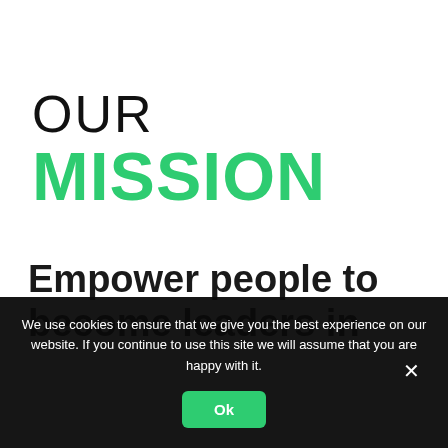OUR MISSION
Empower people to become leaders in
We use cookies to ensure that we give you the best experience on our website. If you continue to use this site we will assume that you are happy with it.